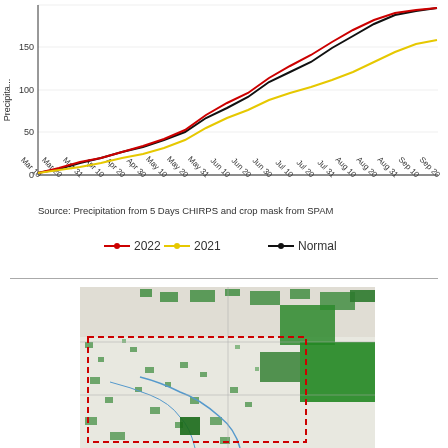[Figure (continuous-plot): Cumulative precipitation line chart showing three series (2022 in red, 2021 in yellow, Normal in black) from Mar 10 to Sep 20, with values rising from ~0 to ~175mm. The y-axis shows Precipitation values (0, 50, 100, 150) and x-axis shows dates from Mar 10 to Sep 20.]
Source: Precipitation from 5 Days CHIRPS and crop mask from SPAM
[Figure (map): Agricultural crop mask map showing green vegetation/crop areas on a light gray/white background with blue river lines and a red dashed rectangle indicating a region of interest.]